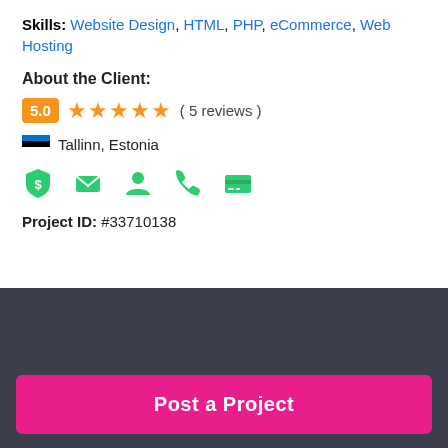Skills: Website Design, HTML, PHP, eCommerce, Web Hosting
About the Client:
5.0 ★★★★★ ( 5 reviews )
🇪🇪 Tallinn, Estonia
[Figure (infographic): Row of 5 green verification/profile icons: payment shield, email, person, phone, credit card]
Project ID: #33710138
Looking to make some money?
Need to hire a freelancer for a job?
Post a Project